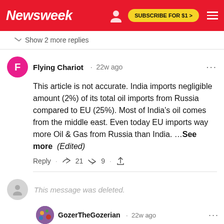Newsweek | SUBSCRIBE FOR $1 >
Show 2 more replies
Flying Chariot · 22w ago
This article is not accurate. India imports negligible amount (2%) of its total oil imports from Russia compared to EU (25%). Most of India's oil comes from the middle east. Even today EU imports way more Oil & Gas from Russia than India. ...See more (Edited)
Reply · 👍 21 👎 9 · Share
This message was deleted.
GozerTheGozerian · 22w ago
Bad take. India's problems are almost entirely of its own making, and they are rooted in cultural issues ranging from bureaucratic...